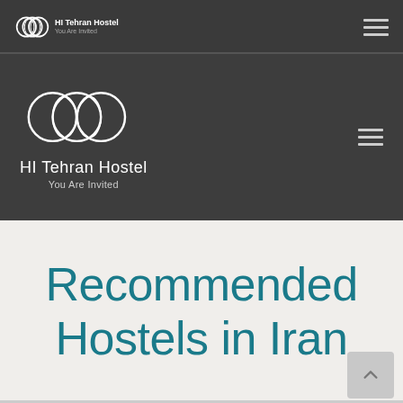HI Tehran Hostel — You Are Invited (top navigation bar)
[Figure (logo): HI Tehran Hostel logo with interlocking circles, text 'HI Tehran Hostel' and tagline 'You Are Invited' on dark background]
Recommended Hostels in Iran